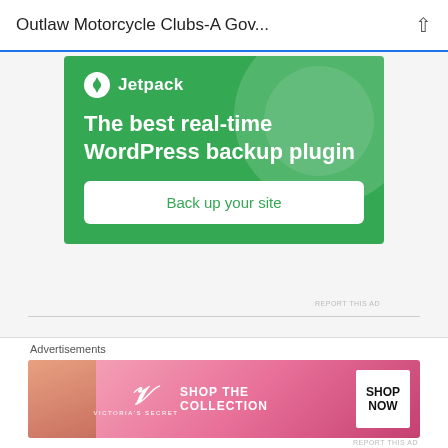Outlaw Motorcycle Clubs-A Gov...
[Figure (screenshot): Jetpack WordPress plugin advertisement: green background with circular decorative elements, Jetpack logo and name at top, headline 'The best real-time WordPress backup plugin', white button 'Back up your site']
REPORT THIS AD
[Figure (screenshot): Decorative avatar icon with pink/coral dotted grid pattern for author Daniel Massetti Sr.]
Daniel Massetti Sr.
Advertisements
[Figure (screenshot): Victoria's Secret advertisement: pink gradient background, model photo on left, VS logo in center, 'SHOP THE COLLECTION' text, white 'SHOP NOW' button on right]